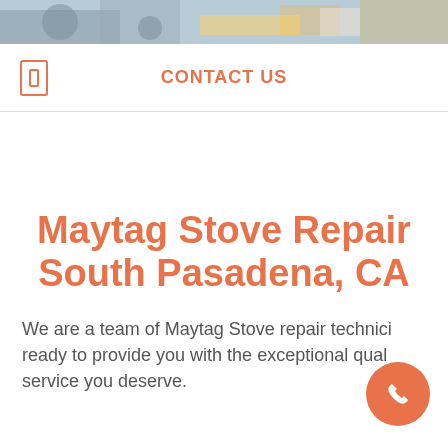[Figure (photo): Hero image showing repair technicians at work with tools and equipment]
CONTACT US
Maytag Stove Repair South Pasadena, CA
We are a team of Maytag Stove repair technicians ready to provide you with the exceptional quality service you deserve.